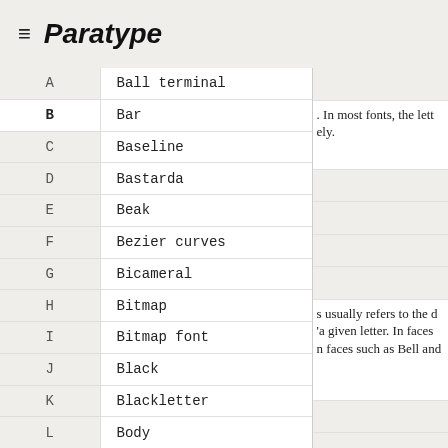≡ Paratype
A — Ball terminal
B — Bar
C — Baseline
D — Bastarda
E — Beak
F — Bezier curves
G — Bicameral
H — Bitmap
I — Bitmap font
J — Black
K — Blackletter
L — Body
. In most fonts, the lett... ely.
s usually refers to the d... 'a given letter. In faces... n faces such as Bell and...
terform, whether wh...